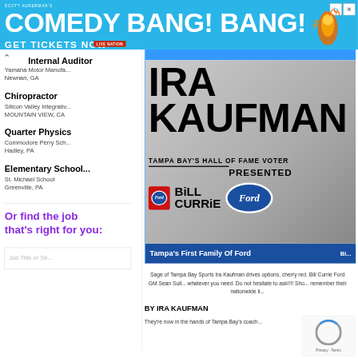[Figure (screenshot): Advertisement banner for Scott Aukerman's Comedy Bang! Bang! show with blue background, white text, and orange illustration. Shows 'GET TICKETS NOW' with Live Nation branding.]
Internal Auditor
Yamaha Motor Manufa...
Newnan, GA
Chiropractor
Silicon Valley Integrativ...
MOUNTAIN VIEW, CA
Quarter Physics
Commodore Perry Sch...
Hadley, PA
Elementary School...
St. Michael School
Greenville, PA
Or find the job that's right for you:
[Figure (screenshot): Ira Kaufman Tampa Bay's Hall of Fame Voter ad presented by Bill Currie Ford. Shows large black text 'IRA KAUFMAN' on silver/gray background with Ford and Bill Currie Ford logos. Blue bar at bottom reads 'Tampa's First Family Of Ford'.]
Sage of Tampa Bay Sports Ira Kaufman drives options, cherry red. Bill Currie Ford GM Sean Sull... whatever you need. Do not hesitate to ask!!!! Sho... remember their nationwide li...
BY IRA KAUFMAN
They're now in the hands of Tampa Bay's coach...